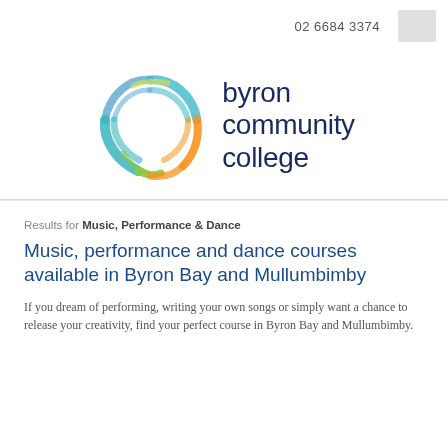02 6684 3374
[Figure (logo): Byron Community College logo — colorful circular brush-stroke ring in teal, orange, green, and yellow with the text 'byron community college' in dark navy blue]
Results for Music, Performance & Dance
Music, performance and dance courses available in Byron Bay and Mullumbimby
If you dream of performing, writing your own songs or simply want a chance to release your creativity, find your perfect course in Byron Bay and Mullumbimby.